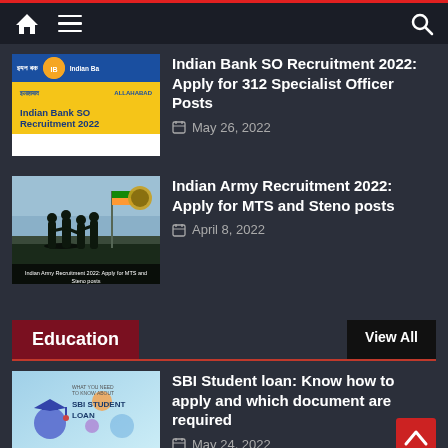Navigation bar with home, menu, and search icons
[Figure (screenshot): Indian Bank SO Recruitment 2022 promotional banner with Hindi and English text, yellow and blue colors]
Indian Bank SO Recruitment 2022: Apply for 312 Specialist Officer Posts
May 26, 2022
[Figure (photo): Indian Army soldiers silhouette photo with caption about MTS and Steno posts recruitment 2022]
Indian Army Recruitment 2022: Apply for MTS and Steno posts
April 8, 2022
Education
View All
[Figure (screenshot): SBI Student Loan promotional banner with light blue background and SBI logo]
SBI Student loan: Know how to apply and which document are required
May 24, 2022